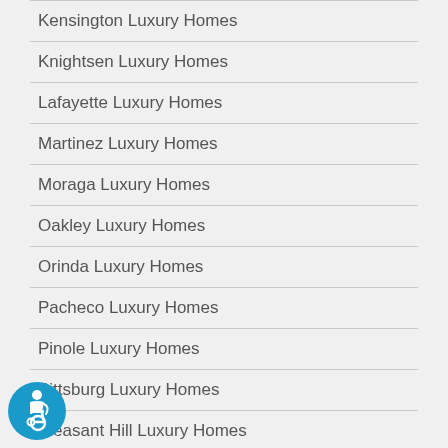Kensington Luxury Homes
Knightsen Luxury Homes
Lafayette Luxury Homes
Martinez Luxury Homes
Moraga Luxury Homes
Oakley Luxury Homes
Orinda Luxury Homes
Pacheco Luxury Homes
Pinole Luxury Homes
Pittsburg Luxury Homes
Pleasant Hill Luxury Homes
[Figure (illustration): Blue circular accessibility icon with wheelchair user symbol]